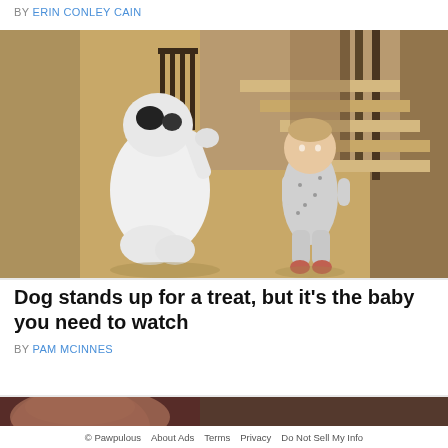BY ERIN CONLEY CAIN
[Figure (photo): A white dog standing on its hind legs reaching up with a paw toward a toddler in pajamas, inside a home with wooden stairs and flooring in the background.]
Dog stands up for a treat, but it's the baby you need to watch
BY PAM MCINNES
[Figure (photo): Partial view of a person's face close to the camera, reddish-green background.]
© Pawpulous  About Ads  Terms  Privacy  Do Not Sell My Info